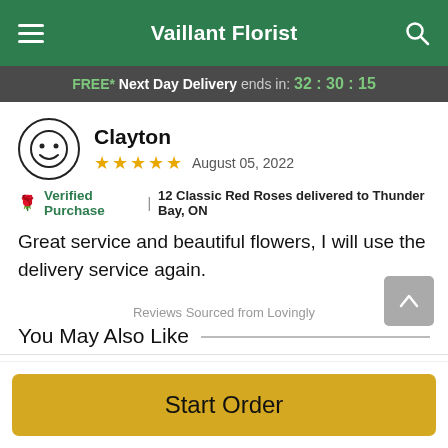Vaillant Florist
FREE* Next Day Delivery ends in: 32:30:15
Clayton
★★★★★  August 05, 2022
Verified Purchase  |  12 Classic Red Roses delivered to Thunder Bay, ON
Great service and beautiful flowers, I will use the delivery service again.
Reviews Sourced from Lovingly
You May Also Like
Start Order